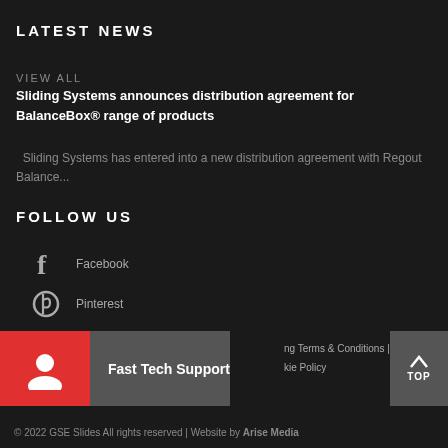LATEST NEWS
VIEW ALL
Sliding Systems announces distribution agreement for BalanceBox® range of products
Sliding Systems has entered into a new distribution agreement with Regout Balance...
FOLLOW US
Facebook
Pinterest
LinkedIn
Fast Tech Support
ing Terms & Conditions | Privacy & Cookie Policy
© 2022 GSE Slides All rights reserved | Website by Arise Media